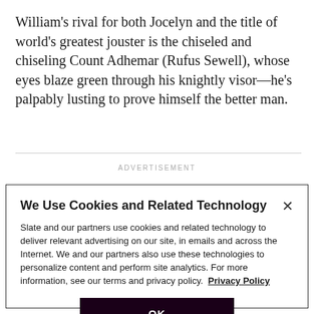William's rival for both Jocelyn and the title of world's greatest jouster is the chiseled and chiseling Count Adhemar (Rufus Sewell), whose eyes blaze green through his knightly visor—he's palpably lusting to prove himself the better man.
ADVERTISEMENT
We Use Cookies and Related Technology
Slate and our partners use cookies and related technology to deliver relevant advertising on our site, in emails and across the Internet. We and our partners also use these technologies to personalize content and perform site analytics. For more information, see our terms and privacy policy.  Privacy Policy
OK